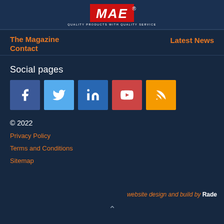[Figure (logo): MAE logo - red background with white italic bold text 'MAE' and registered trademark symbol, tagline 'Quality Products with Quality Service']
The Magazine
Latest News
Contact
Social pages
[Figure (infographic): Five social media icons: Facebook (blue), Twitter (light blue), LinkedIn (dark blue), YouTube (red), RSS (orange)]
© 2022
Privacy Policy
Terms and Conditions
Sitemap
website design and build by Rade
^